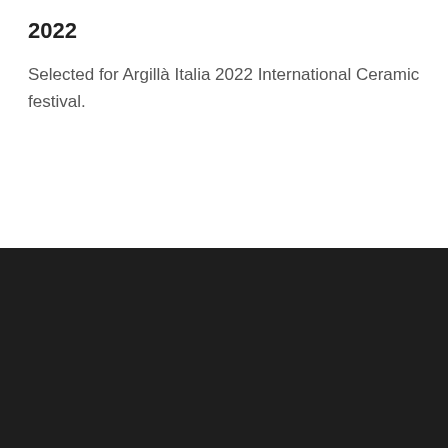2022
Selected for Argillà Italia 2022 International Ceramic festival.
JANE CAMPBELL CERAMIC ARTIST | HOME | ABOUT | SHOP | NEWS | CONTACT